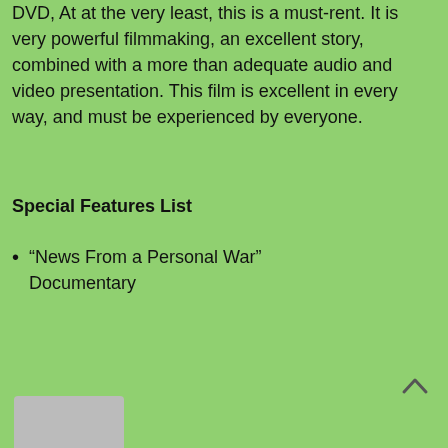DVD, At at the very least, this is a must-rent. It is very powerful filmmaking, an excellent story, combined with a more than adequate audio and video presentation. This film is excellent in every way, and must be experienced by everyone.
Special Features List
“News From a Personal War” Documentary